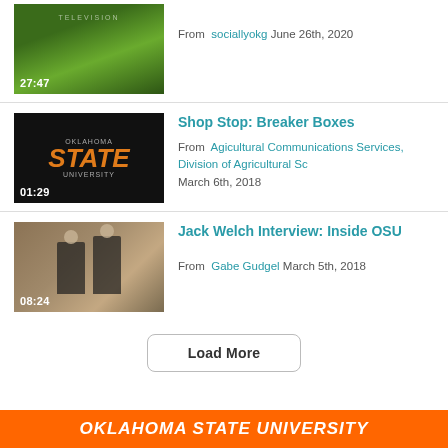[Figure (screenshot): Video thumbnail showing lawn mower on grass with TELEVISION text overlay, duration 27:47]
From sociallyokg June 26th, 2020
[Figure (logo): Oklahoma State University logo thumbnail with orange OSU STATE text on dark background, duration 01:29]
Shop Stop: Breaker Boxes
From Agicultural Communications Services, Division of Agricultural Sc March 6th, 2018
[Figure (photo): Video thumbnail showing two men in suits seated in interview setting, duration 08:24]
Jack Welch Interview: Inside OSU
From Gabe Gudgel March 5th, 2018
Load More
OKLAHOMA STATE UNIVERSITY